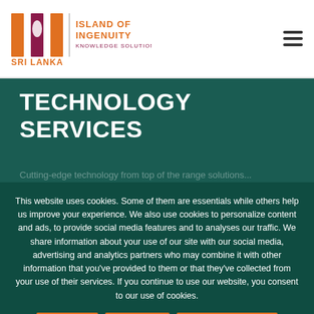[Figure (logo): Island of Ingenuity Knowledge Solutions Sri Lanka logo — orange vertical bars with maroon teardrop shape, orange and maroon text]
TECHNOLOGY SERVICES
This website uses cookies. Some of them are essentials while others help us improve your experience. We also use cookies to personalize content and ads, to provide social media features and to analyses our traffic. We share information about your use of our site with our social media, advertising and analytics partners who may combine it with other information that you've provided to them or that they've collected from your use of their services. If you continue to use our website, you consent to our use of cookies.
ACCEPT
DECLINE
PRIVACY POLICY